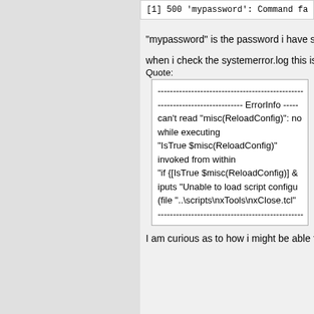[1] 500 'mypassword': Command fa
"mypassword" is the password i have s
when i check the systemerror.log this is
Quote:
-------------------------------------------------------------------------------------------- ErrorInfo ----
can't read "misc(ReloadConfig)": no
while executing
"IsTrue $misc(ReloadConfig)"
invoked from within
"if {[IsTrue $misc(ReloadConfig)] &
iputs "Unable to load script configu
(file "..\scripts\nxTools\nxClose.tcl"
--------------------------------------------------------------------------------------------
I am curious as to how i might be able t